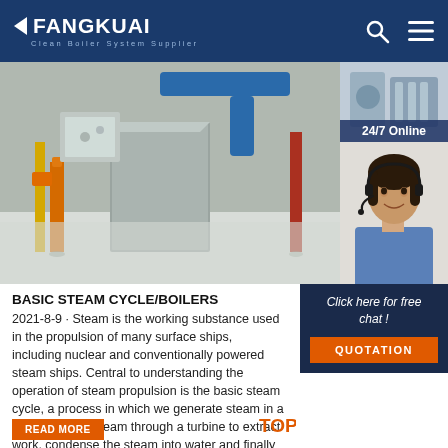FANGKUAI Clean Boiler System Supplier
[Figure (photo): Industrial boiler room with large metal ductwork, orange and yellow pipes, and a blue pipe overhead. Right side shows a small equipment photo above and a customer service woman with headset below.]
24/7 Online
Click here for free chat !
QUOTATION
BASIC STEAM CYCLE/BOILERS
2021-8-9 · Steam is the working substance used in the propulsion of many surface ships, including nuclear and conventionally powered steam ships. Central to understanding the operation of steam propulsion is the basic steam cycle, a process in which we generate steam in a boiler, expand steam through a turbine to extract work, condense the steam into water and finally feed the water back to the boiler.